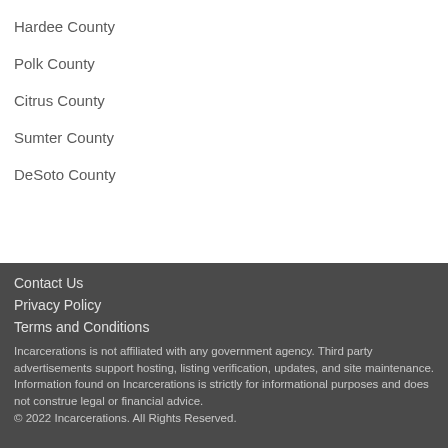Hardee County
Polk County
Citrus County
Sumter County
DeSoto County
Contact Us
Privacy Policy
Terms and Conditions
Incarcerations is not affiliated with any government agency. Third party advertisements support hosting, listing verification, updates, and site maintenance. Information found on Incarcerations is strictly for informational purposes and does not construe legal or financial advice.
© 2022 Incarcerations. All Rights Reserved.